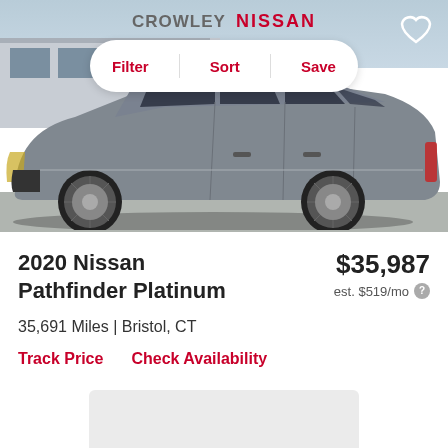[Figure (photo): Gray 2020 Nissan Pathfinder Platinum SUV parked in front of Crowley Nissan dealership, side profile view]
2020 Nissan Pathfinder Platinum
$35,987
est. $519/mo
35,691 Miles | Bristol, CT
Track Price   Check Availability